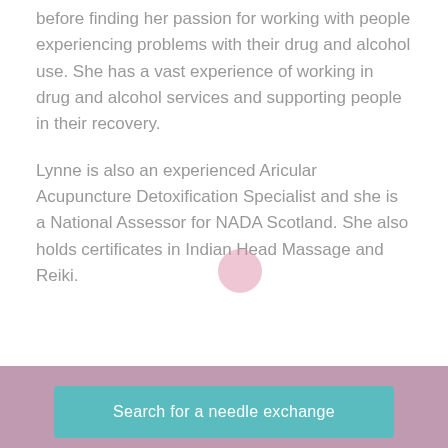before finding her passion for working with people experiencing problems with their drug and alcohol use. She has a vast experience of working in drug and alcohol services and supporting people in their recovery.
Lynne is also an experienced Aricular Acupuncture Detoxification Specialist and she is a National Assessor for NADA Scotland. She also holds certificates in Indian Head Massage and Reiki.
Search for a needle exchange